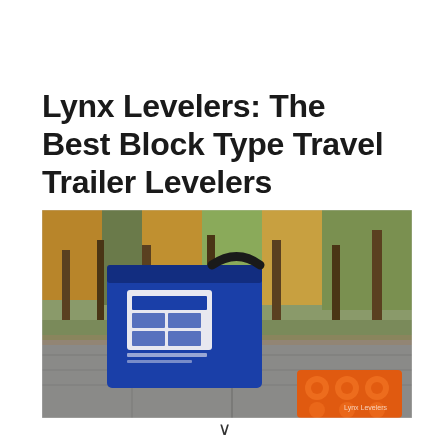Lynx Levelers: The Best Block Type Travel Trailer Levelers
[Figure (photo): A blue Lynx Levelers branded tote bag sitting on a wooden picnic table outdoors in a forested campsite setting, with orange leveling blocks visible in the bottom right corner of the image.]